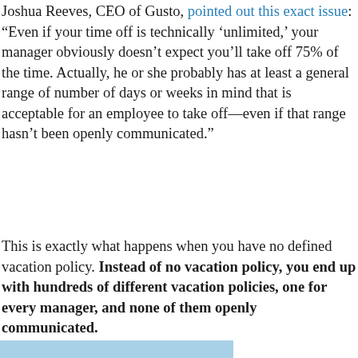Joshua Reeves, CEO of Gusto, pointed out this exact issue: “Even if your time off is technically ‘unlimited,’ your manager obviously doesn’t expect you’ll take off 75% of the time. Actually, he or she probably has at least a general range of number of days or weeks in mind that is acceptable for an employee to take off—even if that range hasn’t been openly communicated.”
This is exactly what happens when you have no defined vacation policy. Instead of no vacation policy, you end up with hundreds of different vacation policies, one for every manager, and none of them openly communicated.